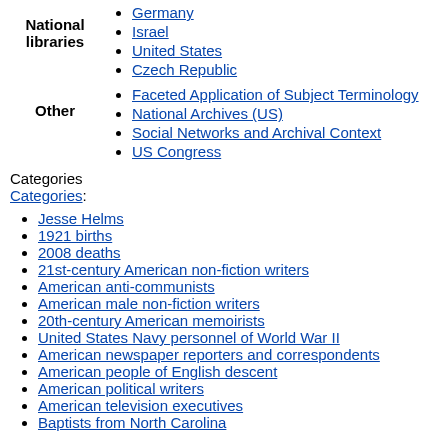Germany
Israel
United States
Czech Republic
Faceted Application of Subject Terminology
National Archives (US)
Social Networks and Archival Context
US Congress
Categories
Categories:
Jesse Helms
1921 births
2008 deaths
21st-century American non-fiction writers
American anti-communists
American male non-fiction writers
20th-century American memoirists
United States Navy personnel of World War II
American newspaper reporters and correspondents
American people of English descent
American political writers
American television executives
Baptists from North Carolina